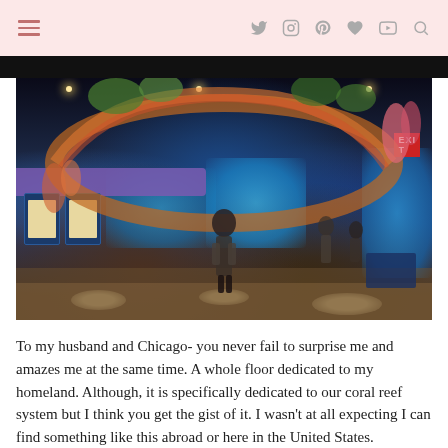Navigation bar with hamburger menu and social icons (Twitter, Instagram, Pinterest, heart/Bloglovin, YouTube, Search)
[Figure (photo): Interior of an aquarium exhibit showing a coral reef display arch with colorful marine decorations, blue illuminated tanks, display boards on the left, a person standing in the center, and other visitors in the background. Purple banner visible on the left side.]
To my husband and Chicago- you never fail to surprise me and amazes me at the same time. A whole floor dedicated to my homeland. Although, it is specifically dedicated to our coral reef system but I think you get the gist of it. I wasn't at all expecting I can find something like this abroad or here in the United States.